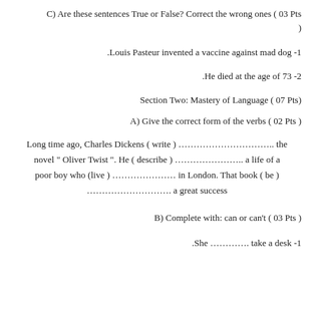C) Are these sentences True or False? Correct the wrong ones ( 03 Pts )
-1 .Louis Pasteur invented a vaccine against mad dog
-2 .He died at the age of 73
Section Two: Mastery of Language ( 07 Pts)
A) Give the correct form of the verbs ( 02 Pts )
Long time ago, Charles Dickens ( write ) ………………………….. the novel " Oliver Twist ". He ( describe ) ………………….. a life of a poor boy who (live ) ………………… in London. That book ( be ) ………………………. a great success
B) Complete with: can or can't ( 03 Pts )
-1 .She …………. take a desk